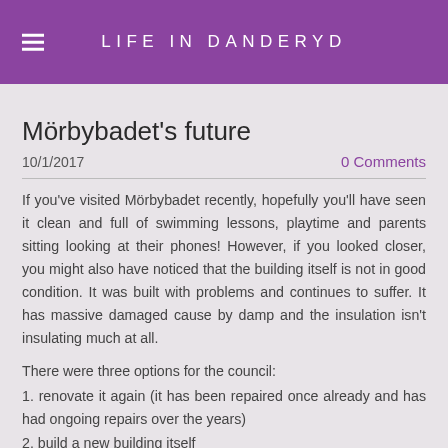LIFE IN DANDERYD
Mörbybadet's future
10/1/2017
0 Comments
If you've visited Mörbybadet recently, hopefully you'll have seen it clean and full of swimming lessons, playtime and parents sitting looking at their phones! However, if you looked closer, you might also have noticed that the building itself is not in good condition. It was built with problems and continues to suffer. It has massive damaged cause by damp and the insulation isn't insulating much at all.
There were three options for the council:
1. renovate it again (it has been repaired once already and has had ongoing repairs over the years)
2. build a new building itself
3. rent out the space and permissions to a private company to